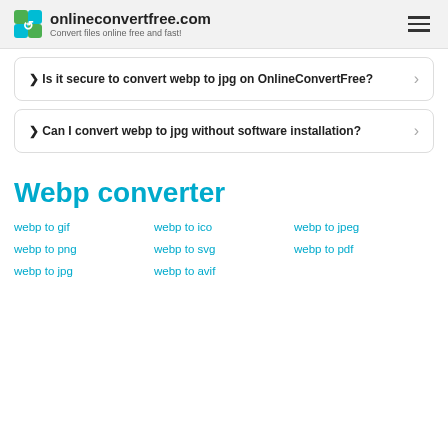onlineconvertfree.com — Convert files online free and fast!
❯ Is it secure to convert webp to jpg on OnlineConvertFree?
❯ Can I convert webp to jpg without software installation?
Webp converter
webp to gif
webp to ico
webp to jpeg
webp to png
webp to svg
webp to pdf
webp to jpg
webp to avif